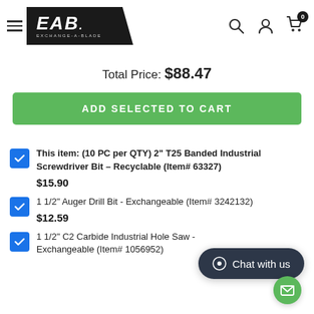EAB Exchange-A-Blade — navigation header with logo, search, account, cart (0)
Total Price: $88.47
ADD SELECTED TO CART
This item: (10 PC per QTY) 2" T25 Banded Industrial Screwdriver Bit - Recyclable (Item# 63327) $15.90
1 1/2" Auger Drill Bit - Exchangeable (Item# 3242132) $12.59
1 1/2" C2 Carbide Industrial Hole Saw - Exchangeable (Item# 1056952)